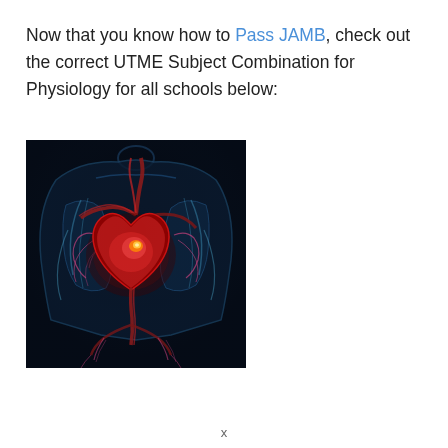Now that you know how to Pass JAMB, check out the correct UTME Subject Combination for Physiology for all schools below:
[Figure (illustration): Medical illustration of a human torso with glowing heart and cardiovascular system highlighted in red against a dark blue/black background, showing arteries and blood vessels.]